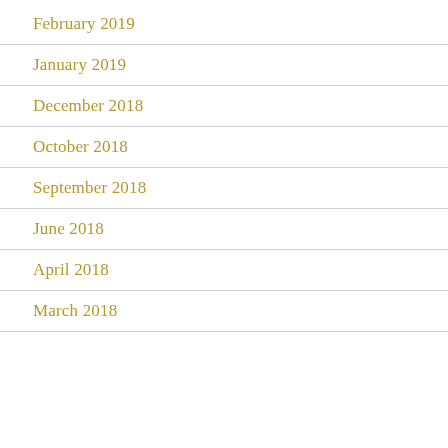February 2019
January 2019
December 2018
October 2018
September 2018
June 2018
April 2018
March 2018